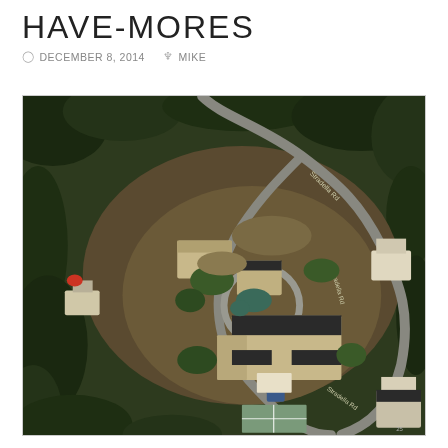HAVE-MORES
DECEMBER 8, 2014   MIKE
[Figure (photo): Aerial satellite view of a large residential estate with winding roads labeled 'Stradella Rd', surrounded by dense trees and landscaping. The property features a large main house, circular driveway, pool, tennis court, and outbuildings.]